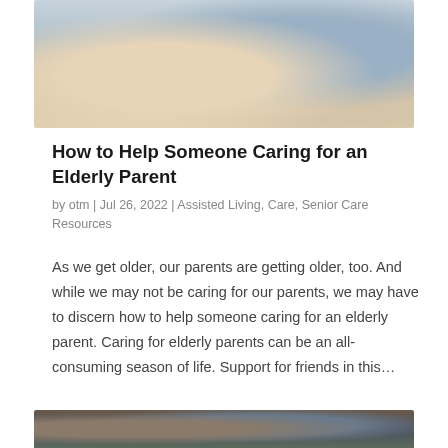[Figure (photo): Photo of an elderly person in a beige sweater being cared for by a caregiver in blue clothing, partial view from above]
How to Help Someone Caring for an Elderly Parent
by otm | Jul 26, 2022 | Assisted Living, Care, Senior Care Resources
As we get older, our parents are getting older, too. And while we may not be caring for our parents, we may have to discern how to help someone caring for an elderly parent. Caring for elderly parents can be an all-consuming season of life. Support for friends in this…
[Figure (photo): Partial photo at bottom of page showing people, cropped]